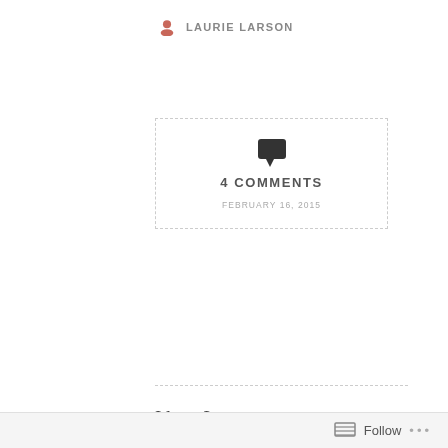LAURIE LARSON
[Figure (infographic): Comment box with speech bubble icon showing '4 COMMENTS' and date 'FEBRUARY 16, 2015', enclosed in a dashed border rectangle]
I love Lucy.
No, I mean I really love Lucy. I'm not your run of the mill Vitameatavegamin-candy-factory-grape-stomping kind of fan. My fan creds?  Well, I've been to Lucy's hometown in Jamestown, New York
Follow ...